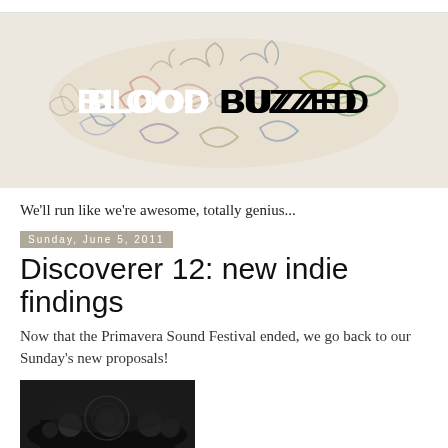[Figure (illustration): Blood Buzzed blog banner header with colorful scribble/tangled lines illustration on a beige/cream background, with 'BLOOD BUZZED' text in bold white and black lettering overlaid in the center]
We'll run like we're awesome, totally genius...
Sunday, June 5, 2011
Discoverer 12: new indie findings
Now that the Primavera Sound Festival ended, we go back to our Sunday's new proposals!
[Figure (photo): Black and white photo thumbnail at the bottom of the page, partially visible, showing a crowded scene]